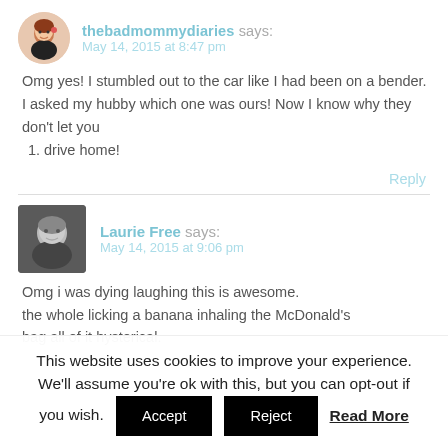thebadmommydiaries says: May 14, 2015 at 8:47 pm
Omg yes! I stumbled out to the car like I had been on a bender. I asked my hubby which one was ours! Now I know why they don't let you drive home!
Reply
Laurie Free says: May 14, 2015 at 9:06 pm
Omg i was dying laughing this is awesome. the whole licking a banana inhaling the McDonald's bag all of it hysterical.
This website uses cookies to improve your experience. We'll assume you're ok with this, but you can opt-out if you wish. Accept Reject Read More